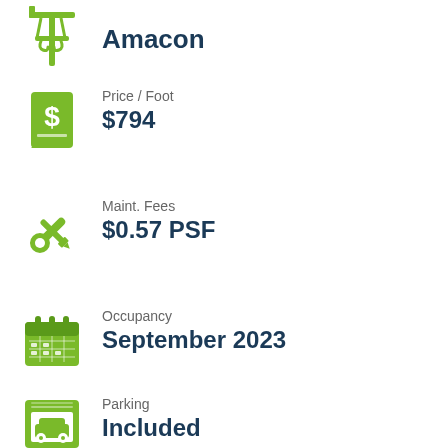Amacon
Price / Foot
$794
Maint. Fees
$0.57 PSF
Occupancy
September 2023
Parking
Included
Property Tax